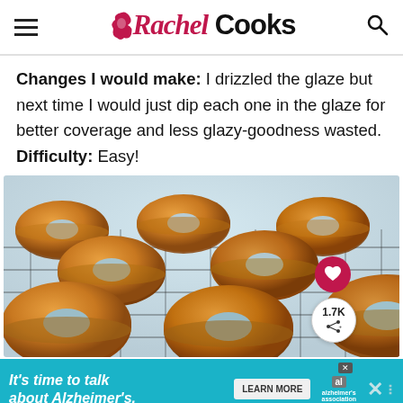Rachel Cooks
Changes I would make: I drizzled the glaze but next time I would just dip each one in the glaze for better coverage and less glazy-goodness wasted. Difficulty: Easy!
[Figure (photo): Multiple golden glazed donuts arranged on a wire cooling rack, viewed from a shallow angle. A heart (favorite) button and a share button showing 1.7K shares are overlaid on the right side.]
[Figure (screenshot): Advertisement banner: cyan/teal background with white italic text reading 'It's time to talk about Alzheimer's.' with a 'LEARN MORE' button and Alzheimer's Association logo.]